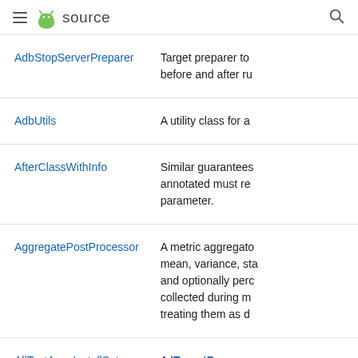≡ [Android] source 🔍
| Class/Interface | Description |
| --- | --- |
| AdbStopServerPreparer | Target preparer to before and after ru |
| AdbUtils | A utility class for a |
| AfterClassWithInfo | Similar guarantees annotated must re parameter. |
| AggregatePostProcessor | A metric aggregato mean, variance, sta and optionally perc collected during m treating them as d |
| AllTestAppsInstallSetup | A ITargetPrepar IDeviceBuildIn |